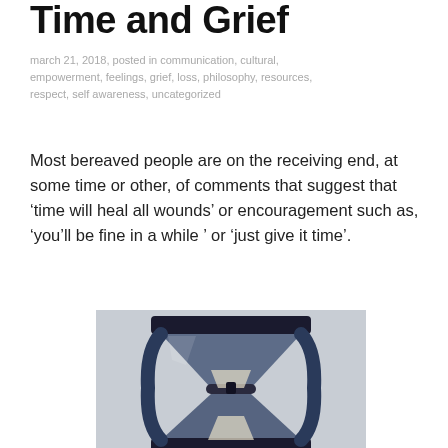Time and Grief
march 21, 2018, posted in communication, cultural, empowerment, feelings, grief, loss, philosophy, resources, respect, self awareness, uncategorized
Most bereaved people are on the receiving end, at some time or other, of comments that suggest that ‘time will heal all wounds’ or encouragement such as, ‘you’ll be fine in a while ’ or ‘just give it time’.
[Figure (photo): An artistic photograph of an hourglass with a dark, sculptural, distressed appearance against a light grey background. The hourglass has dark wooden or stone-like ends and weathered, organic-looking sides.]